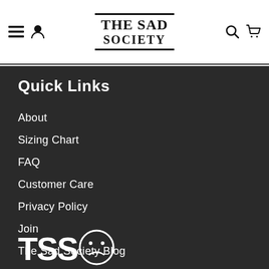THE SAD SOCIETY — navigation header with menu, user, search, and cart icons
Quick Links
About
Sizing Chart
FAQ
Customer Care
Privacy Policy
Join
The Sad Society Blog
[Figure (logo): TSS logo with sad face emoticon in circle, white on dark background]